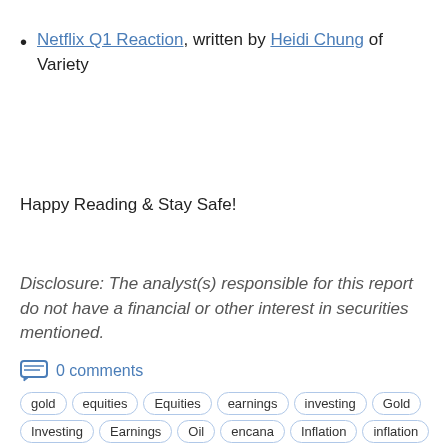Netflix Q1 Reaction, written by Heidi Chung of Variety
Happy Reading & Stay Safe!
Disclosure: The analyst(s) responsible for this report do not have a financial or other interest in securities mentioned.
0 comments
gold  equities  Equities  earnings  investing  Gold  Investing  Earnings  Oil  encana  Inflation  inflation  TSX  oil